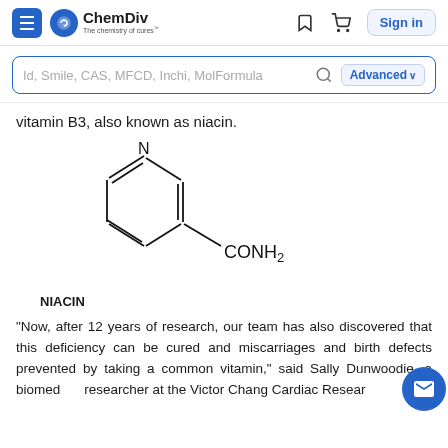ChemDiv - The chemistry of cures
vitamin B3, also known as niacin.
[Figure (engineering-diagram): Chemical structure of nicotinamide (niacin/vitamin B3): a pyridine ring with a CONH2 group attached at position 3.]
NIACIN
"Now, after 12 years of research, our team has also discovered that this deficiency can be cured and miscarriages and birth defects prevented by taking a common vitamin," said Sally Dunwoodie, a biomedical researcher at the Victor Chang Cardiac Research